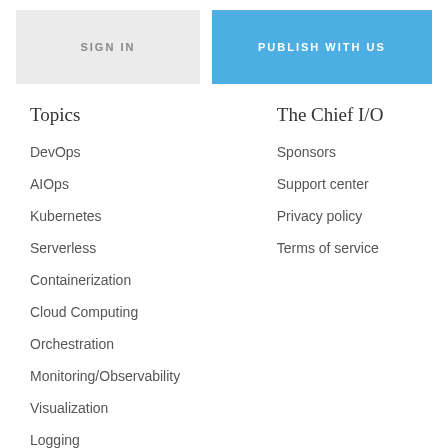SIGN IN | PUBLISH WITH US
Topics
DevOps
AIOps
Kubernetes
Serverless
Containerization
Cloud Computing
Orchestration
Monitoring/Observability
Visualization
Logging
DevSecOps
Configuration Management
The Chief I/O
Sponsors
Support center
Privacy policy
Terms of service